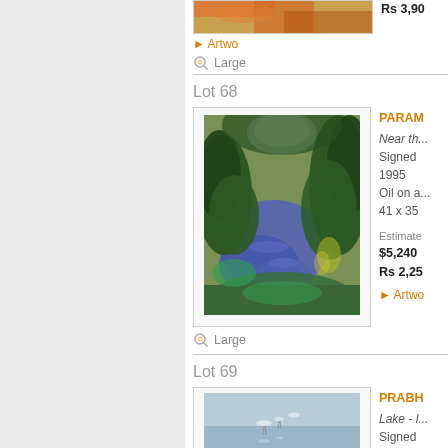Rs 3,90...
► Artwo...
Large
Lot 68
[Figure (photo): Landscape painting: river/pond with blue-purple water, surrounded by dense green trees and foliage, dappled light, impressionistic style]
PARA M... Near th... Signed 1995 Oil on a... 41 x 35 ... Estimated $5,240... Rs 2,25... ► Artwo...
Large
Lot 69
[Figure (photo): Landscape painting: lake scene with birds/herons, pale grey-blue sky and water, realistic style]
PRABH... Lake - ... Signed...